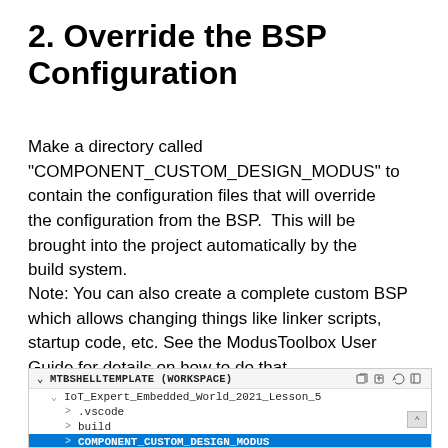2. Override the BSP Configuration
Make a directory called "COMPONENT_CUSTOM_DESIGN_MODUS" to contain the configuration files that will override the configuration from the BSP.  This will be brought into the project automatically by the build system.
Note: You can also create a complete custom BSP which allows changing things like linker scripts, startup code, etc. See the ModusToolbox User Guide for details on how to do that.
[Figure (screenshot): VS Code file explorer showing MTBSHELLTEMPLATE (WORKSPACE) with IoT_Expert_Embedded_World_2021_Lesson_5 expanded, showing .vscode, build, COMPONENT_CUSTOM_DESIGN_MODUS (highlighted in blue), and deps items]